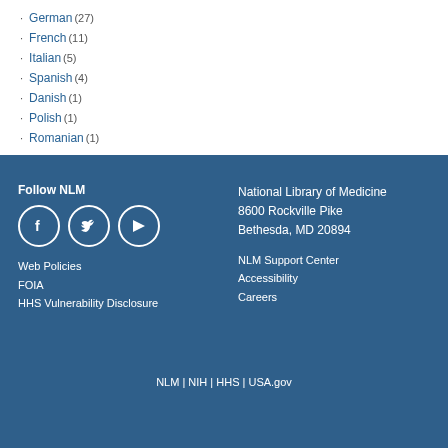German (27)
French (11)
Italian (5)
Spanish (4)
Danish (1)
Polish (1)
Romanian (1)
Follow NLM
National Library of Medicine
8600 Rockville Pike
Bethesda, MD 20894
Web Policies
FOIA
HHS Vulnerability Disclosure
NLM Support Center
Accessibility
Careers
NLM | NIH | HHS | USA.gov